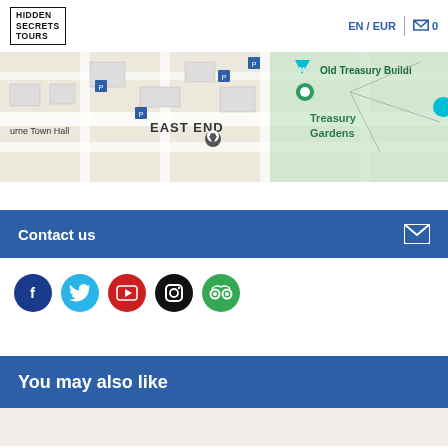[Figure (logo): Hidden Secrets Tours logo in top-left]
EN / EUR
0
[Figure (map): Street map showing East End, Melbourne Town Hall, Old Treasury Building, Treasury Gardens]
Contact us
[Figure (infographic): Social media icons: Facebook, Twitter, YouTube, Instagram, TripAdvisor]
You may also like